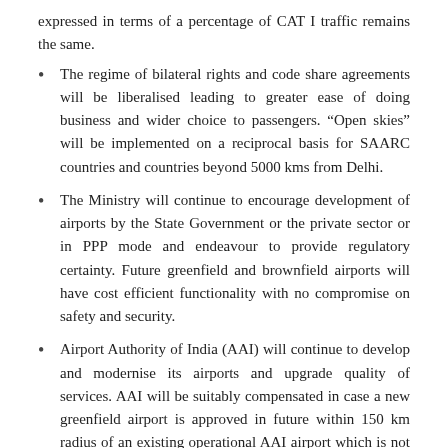expressed in terms of a percentage of CAT I traffic remains the same.
The regime of bilateral rights and code share agreements will be liberalised leading to greater ease of doing business and wider choice to passengers. “Open skies” will be implemented on a reciprocal basis for SAARC countries and countries beyond 5000 kms from Delhi.
The Ministry will continue to encourage development of airports by the State Government or the private sector or in PPP mode and endeavour to provide regulatory certainty. Future greenfield and brownfield airports will have cost efficient functionality with no compromise on safety and security.
Airport Authority of India (AAI) will continue to develop and modernise its airports and upgrade quality of services. AAI will be suitably compensated in case a new greenfield airport is approved in future within 150 km radius of an existing operational AAI airport which is not yet saturated.